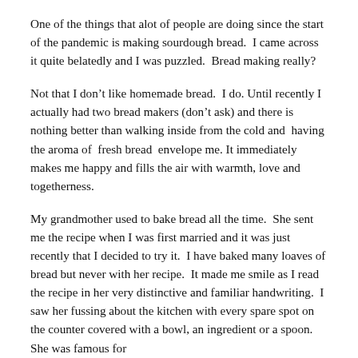One of the things that alot of people are doing since the start of the pandemic is making sourdough bread.  I came across it quite belatedly and I was puzzled.  Bread making really?
Not that I don't like homemade bread.  I do. Until recently I actually had two bread makers (don't ask) and there is nothing better than walking inside from the cold and  having the aroma of  fresh bread  envelope me. It immediately makes me happy and fills the air with warmth, love and togetherness.
My grandmother used to bake bread all the time.  She sent me the recipe when I was first married and it was just recently that I decided to try it.  I have baked many loaves of bread but never with her recipe.  It made me smile as I read the recipe in her very distinctive and familiar handwriting.  I saw her fussing about the kitchen with every spare spot on the counter covered with a bowl, an ingredient or a spoon.  She was famous for